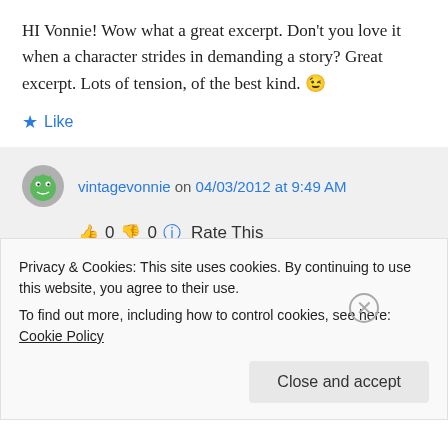HI Vonnie! Wow what a great excerpt. Don't you love it when a character strides in demanding a story? Great excerpt. Lots of tension, of the best kind. 😉
★ Like
vintagevonnie on 04/03/2012 at 9:49 AM
👍 0 👎 0 ℹ Rate This
Privacy & Cookies: This site uses cookies. By continuing to use this website, you agree to their use.
To find out more, including how to control cookies, see here: Cookie Policy